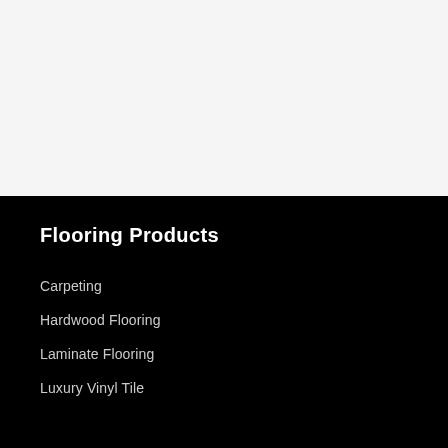Flooring Products
Carpeting
Hardwood Flooring
Laminate Flooring
Luxury Vinyl Tile